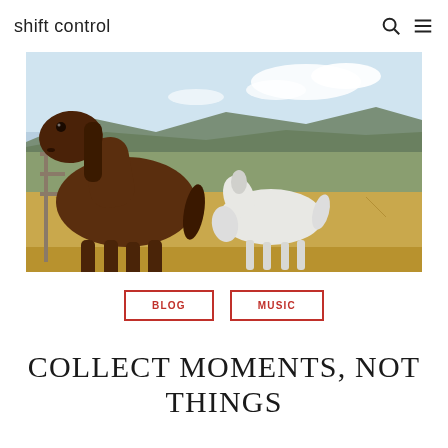shift control
[Figure (photo): Two ponies — a dark brown one in the foreground and a white one grazing in the background — in a paddock with hay on the ground and hills and sky behind them.]
BLOG
MUSIC
COLLECT MOMENTS, NOT THINGS